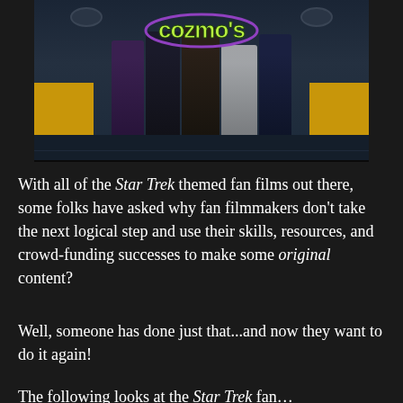[Figure (photo): Promotional image for 'Cozmos' showing five costumed characters standing together in a sci-fi setting with yellow panels and camera domes visible. The Cozmos logo appears at the top in stylized green lettering.]
With all of the Star Trek themed fan films out there, some folks have asked why fan filmmakers don't take the next logical step and use their skills, resources, and crowd-funding successes to make some original content?
Well, someone has done just that...and now they want to do it again!
The following looks at the Star Trek fan...